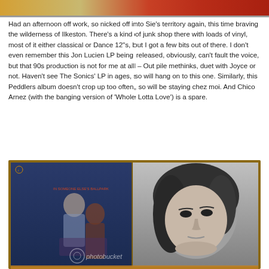[Figure (photo): Top portion of a photo showing vinyl record album covers with red and orange colors, partially cropped]
Had an afternoon off work, so nicked off into Sie's territory again, this time braving the wilderness of Ilkeston. There's a kind of junk shop there with loads of vinyl, most of it either classical or Dance 12"s, but I got a few bits out of there. I don't even remember this Jon Lucien LP being released, obviously, can't fault the voice, but that 90s production is not for me at all – Out pile methinks, duet with Joyce or not. Haven't see The Sonics' LP in ages, so will hang on to this one. Similarly, this Peddlers album doesn't crop up too often, so will be staying chez moi. And Chico Arnez (with the banging version of 'Whole Lotta Love') is a spare.
[Figure (photo): Photo of two vinyl record album covers side by side on a wooden surface. Left album shows two people sitting, right album shows a close-up black and white portrait of a woman's face. Photobucket watermark visible.]